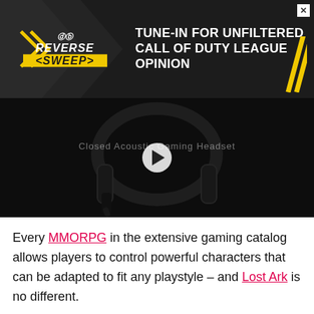[Figure (screenshot): Advertisement banner: Reverse Sweep podcast/show ad with dark background, yellow chevrons and logo, text 'TUNE-IN FOR UNFILTERED CALL OF DUTY LEAGUE OPINION', yellow diagonal stripes on right side. X close button in top right corner.]
[Figure (screenshot): Video player showing a dark background with a gaming headset (Closed Acoustic Gaming Headset). A white play button circle is centered on the video. Overlay text reads 'Closed Acoustic Gaming Headset'.]
Every MMORPG in the extensive gaming catalog allows players to control powerful characters that can be adapted to fit any playstyle – and Lost Ark is no different.
[Figure (screenshot): Second advertisement banner at bottom: Originals logo on dark left panel, center shows 'Untold' (bold) and 'Influencer Stories', right side shows 'LEARN MORE' button with dots icon. X close button in top right.]